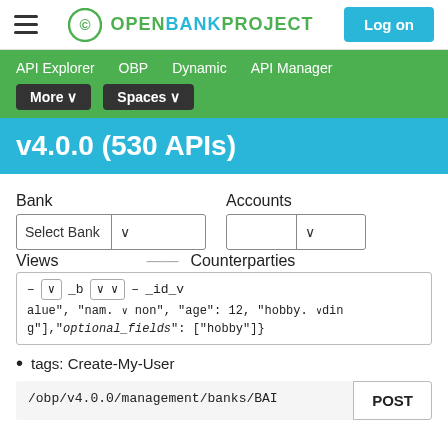Open Bank Project — Log on
API Explorer   OBP   Dynamic   API Manager
v4.0.0 (530 APIs)
Bank   Accounts
Select Bank
Views   Counterparties
– ∨ _b ∨ ∨ – _id_value", "name . . non", "age": 12, "hobby . . .din g"],"optional_fields": ["hobby"]}
tags: Create-My-User
/obp/v4.0.0/management/banks/BAI   POST